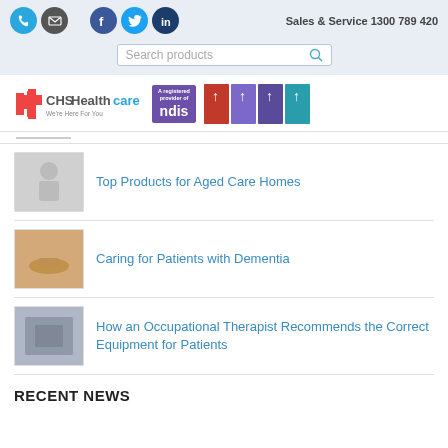Sales & Service 1300 789 420
[Figure (logo): CHS Healthcare logo with NDIS registered provider badge and award badges]
Top Products for Aged Care Homes
Caring for Patients with Dementia
How an Occupational Therapist Recommends the Correct Equipment for Patients
RECENT NEWS